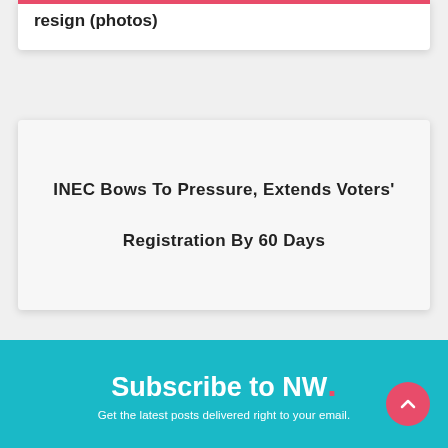resign (photos)
INEC Bows To Pressure, Extends Voters' Registration By 60 Days
Subscribe to NW. Get the latest posts delivered right to your email.